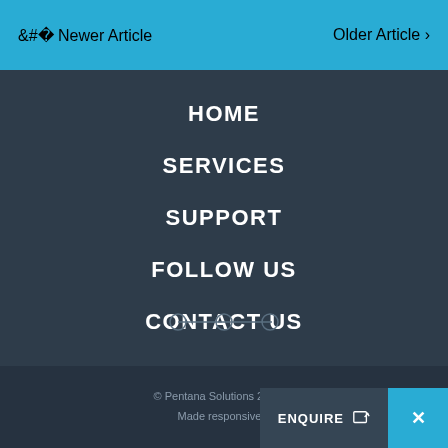< Newer Article    Older Article >
HOME
SERVICES
SUPPORT
FOLLOW US
CONTACT US
© Pentana Solutions 2014. A  Made responsive b
ENQUIRE ✎ ×